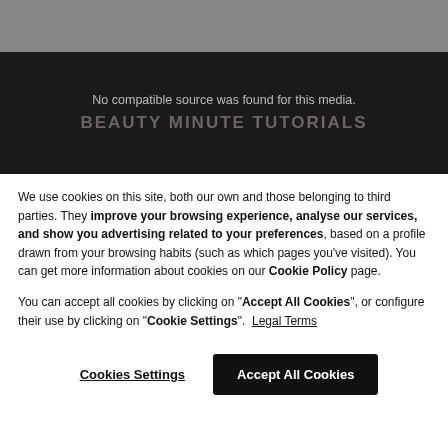[Figure (screenshot): Gray top bar and dark video player area with text 'No compatible source was found for this media.' and 'BEAUTY MINUTE TUTORIALS' overlay text]
We use cookies on this site, both our own and those belonging to third parties. They improve your browsing experience, analyse our services, and show you advertising related to your preferences, based on a profile drawn from your browsing habits (such as which pages you've visited). You can get more information about cookies on our Cookie Policy page.
You can accept all cookies by clicking on "Accept All Cookies", or configure their use by clicking on "Cookie Settings".  Legal Terms
Cookies Settings    Accept All Cookies